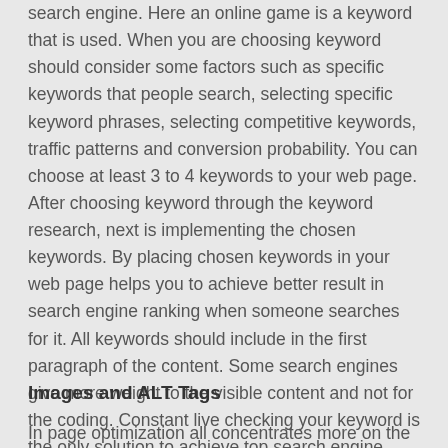search engine. Here an online game is a keyword that is used. When you are choosing keyword should consider some factors such as specific keywords that people search, selecting specific keyword phrases, selecting competitive keywords, traffic patterns and conversion probability. You can choose at least 3 to 4 keywords to your web page. After choosing keyword through the keyword research, next is implementing the chosen keywords. By placing chosen keywords in your web page helps you to achieve better result in search engine ranking when someone searches for it. All keywords should include in the first paragraph of the content. Some search engines give more weight to the visible content and not for the coding. Constant live checking your keyword is the only solution to achieve top search engine ranking.
Images and ALT Tags
In page optimization all concentrates more on the content